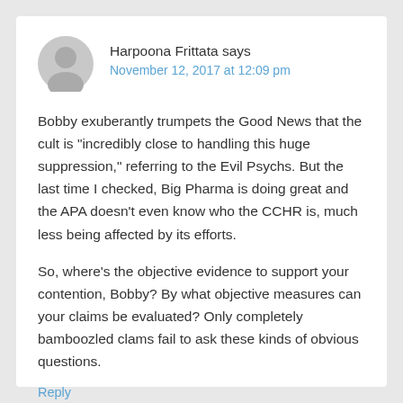Harpoona Frittata says
November 12, 2017 at 12:09 pm
Bobby exuberantly trumpets the Good News that the cult is “incredibly close to handling this huge suppression,” referring to the Evil Psychs. But the last time I checked, Big Pharma is doing great and the APA doesn’t even know who the CCHR is, much less being affected by its efforts.
So, where’s the objective evidence to support your contention, Bobby? By what objective measures can your claims be evaluated? Only completely bamboozled clams fail to ask these kinds of obvious questions.
Reply